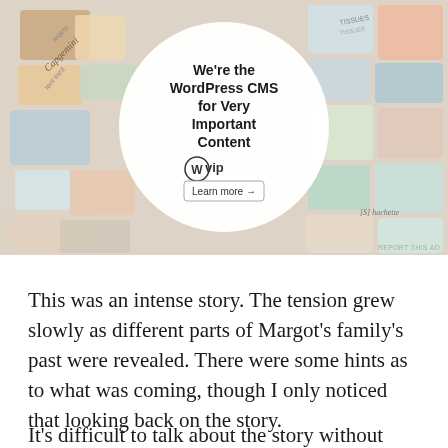[Figure (photo): WordPress VIP advertisement banner showing a circular white logo area with text 'We're the WordPress CMS for Very Important Content' with WP VIP logo and 'Learn more →' button, surrounded by colorful client brand logo tiles in warm beige/tan tones. Bottom right has 'REPORT THIS AD' text.]
This was an intense story. The tension grew slowly as different parts of Margot's family's past were revealed. There were some hints as to what was coming, though I only noticed that looking back on the story.
It's difficult to talk about the story without giving